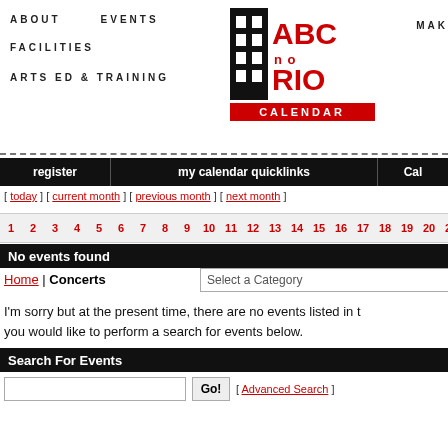ABOUT  EVENTS  FACILITIES  ARTS ED & TRAINING  ABC no RIO CALENDAR  MAK
[Figure (logo): ABC no RIO logo with building icon and red CALENDAR label]
register  my calendar quicklinks  Cal
[ today ] [ current month ] [ previous month ] [ next month ]
1 2 3 4 5 6 7 8 9 10 11 12 13 14 15 16 17 18 19 20 21 22 2...
No events found
Home | Concerts
Select a Category
I'm sorry but at the present time, there are no events listed in t you would like to perform a search for events below.
Search For Events
[ Advanced Search ]